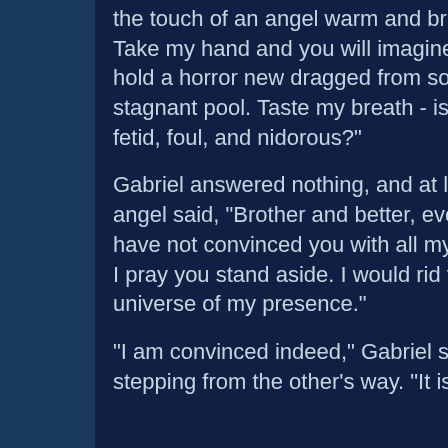the touch of an angel warm and bright? Take my hand and you will imagine you hold a horror new dragged from some stagnant pool. Taste my breath - is it not fetid, foul, and nidorous?"
Gabriel answered nothing, and at last the angel said, "Brother and better, even if I have not convinced you with all my proofs, I pray you stand aside. I would rid the universe of my presence."
"I am convinced indeed," Gabriel said, stepping from the other's way. "It is only